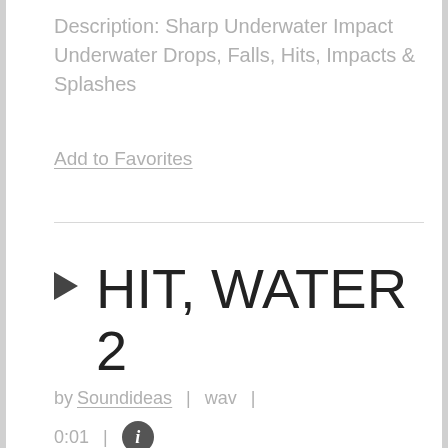Description: Sharp Underwater Impact Underwater Drops, Falls, Hits, Impacts & Splashes
Add to Favorites
▶ HIT, WATER 2
by Soundideas  |  wav  |  0:01  |  ℹ